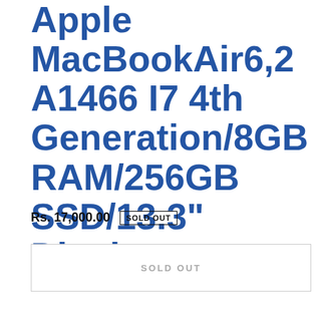Apple MacBookAir6,2 A1466 I7 4th Generation/8GB RAM/256GB SSD/13.3" Display
Rs. 17,000.00  SOLD OUT
SOLD OUT